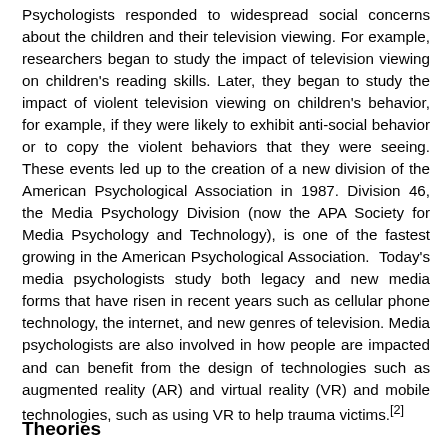Psychologists responded to widespread social concerns about the children and their television viewing. For example, researchers began to study the impact of television viewing on children's reading skills. Later, they began to study the impact of violent television viewing on children's behavior, for example, if they were likely to exhibit anti-social behavior or to copy the violent behaviors that they were seeing. These events led up to the creation of a new division of the American Psychological Association in 1987. Division 46, the Media Psychology Division (now the APA Society for Media Psychology and Technology), is one of the fastest growing in the American Psychological Association. Today's media psychologists study both legacy and new media forms that have risen in recent years such as cellular phone technology, the internet, and new genres of television. Media psychologists are also involved in how people are impacted and can benefit from the design of technologies such as augmented reality (AR) and virtual reality (VR) and mobile technologies, such as using VR to help trauma victims.[2]
Theories